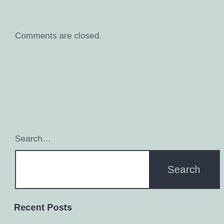Comments are closed.
Search…
[Figure (other): Search input field with white text box on the left and a dark navy 'Search' button on the right]
Recent Posts